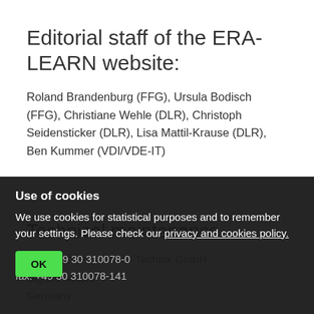Editorial staff of the ERA-LEARN website:
Roland Brandenburg (FFG), Ursula Bodisch (FFG), Christiane Wehle (DLR), Christoph Seidensticker (DLR), Lisa Mattil-Krause (DLR), Ben Kummer (VDI/VDE-IT)
Technical maintenance
VDI/VDE Innovation + Technik GmbH
Germany
phone: +49 30 310078-0
fax: +49 30 310078-141
Use of cookies
We use cookies for statistical purposes and to remember your settings. Please check our privacy and cookies policy.